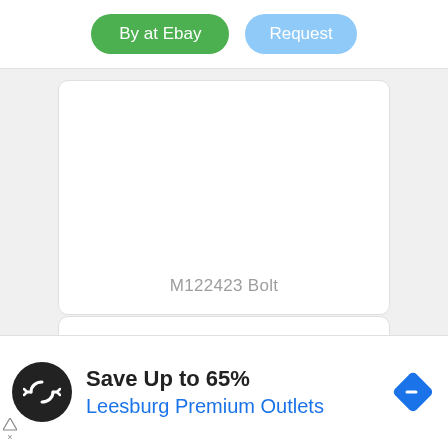[Figure (screenshot): Two UI buttons: green 'By at Ebay' button and blue 'Request' button]
M122423 Bolt
[Figure (illustration): Two interlocking gear icons, one dark/black and one blue, representing settings or engineering]
[Figure (infographic): Advertisement banner: black circular logo with double-arrow icon, text 'Save Up to 65%' and 'Leesburg Premium Outlets', blue diamond arrow icon on right]